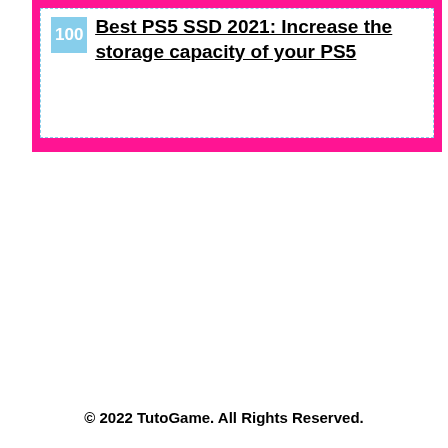Best PS5 SSD 2021: Increase the storage capacity of your PS5
© 2022 TutoGame. All Rights Reserved.